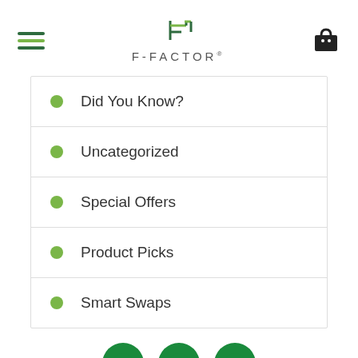[Figure (logo): F-FACTOR brand logo with stylized F icon in green and gray text]
Did You Know?
Uncategorized
Special Offers
Product Picks
Smart Swaps
[Figure (infographic): Social media icons: Facebook, Pinterest, Twitter in green circles]